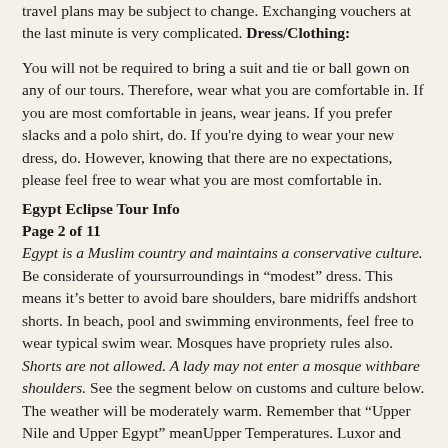travel plans may be subject to change. Exchanging vouchers at the last minute is very complicated. Dress/Clothing:
You will not be required to bring a suit and tie or ball gown on any of our tours. Therefore, wear what you are comfortable in. If you are most comfortable in jeans, wear jeans. If you prefer slacks and a polo shirt, do. If you're dying to wear your new dress, do. However, knowing that there are no expectations, please feel free to wear what you are most comfortable in.
Egypt Eclipse Tour Info
Page 2 of 11
Egypt is a Muslim country and maintains a conservative culture. Be considerate of yoursurroundings in “modest” dress. This means it’s better to avoid bare shoulders, bare midriffs andshort shorts. In beach, pool and swimming environments, feel free to wear typical swim wear. Mosques have propriety rules also. Shorts are not allowed. A lady may not enter a mosque withbare shoulders. See the segment below on customs and culture below.
The weather will be moderately warm. Remember that “Upper Nile and Upper Egypt” meanUpper Temperatures. Luxor and Aswan will have the